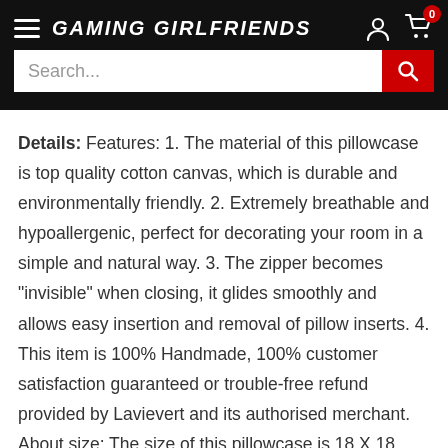GAMING GIRLFRIENDS
Details: Features: 1. The material of this pillowcase is top quality cotton canvas, which is durable and environmentally friendly. 2. Extremely breathable and hypoallergenic, perfect for decorating your room in a simple and natural way. 3. The zipper becomes "invisible" when closing, it glides smoothly and allows easy insertion and removal of pillow inserts. 4. This item is 100% Handmade, 100% customer satisfaction guaranteed or trouble-free refund provided by Lavievert and its authorised merchant. About size: The size of this pillowcase is 18 X 18 inches, and you will find more